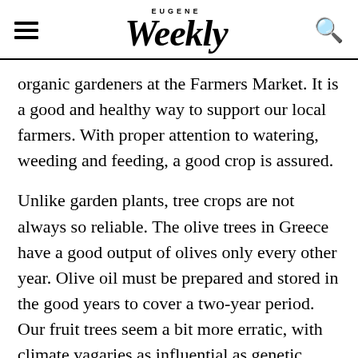EUGENE Weekly
organic gardeners at the Farmers Market. It is a good and healthy way to support our local farmers. With proper attention to watering, weeding and feeding, a good crop is assured.
Unlike garden plants, tree crops are not always so reliable. The olive trees in Greece have a good output of olives only every other year. Olive oil must be prepared and stored in the good years to cover a two-year period. Our fruit trees seem a bit more erratic, with climate vagaries as influential as genetic timing. The apple trees seem to be having a down year while the pear trees have an abundance of baby pears